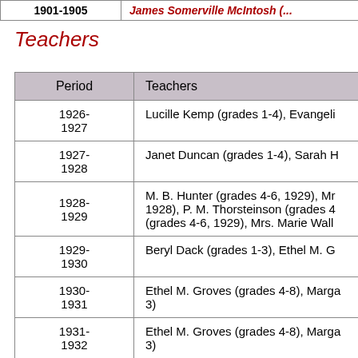| Period | Teachers |
| --- | --- |
| 1926-1927 | Lucille Kemp (grades 1-4), Evangeli... |
| 1927-1928 | Janet Duncan (grades 1-4), Sarah H... |
| 1928-1929 | M. B. Hunter (grades 4-6, 1929), Mr... 1928), P. M. Thorsteinson (grades 4... (grades 4-6, 1929), Mrs. Marie Wall... |
| 1929-1930 | Beryl Dack (grades 1-3), Ethel M. G... |
| 1930-1931 | Ethel M. Groves (grades 4-8), Marga... 3) |
| 1931-1932 | Ethel M. Groves (grades 4-8), Marga... 3) |
| 1932- | Margaret Frances Jackson (grades... |
Teachers